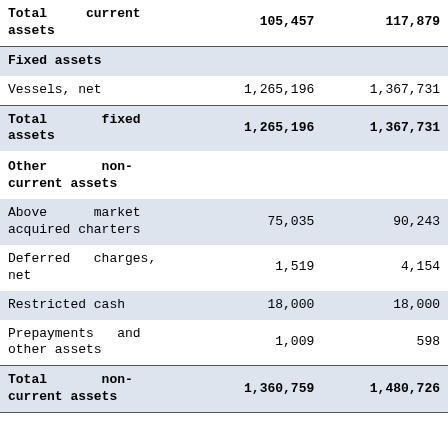|  | Col1 | Col2 |
| --- | --- | --- |
| Total current assets | 105,457 | 117,879 |
| Fixed assets |  |  |
| Vessels, net | 1,265,196 | 1,367,731 |
| Total fixed assets | 1,265,196 | 1,367,731 |
| Other non-current assets |  |  |
| Above market acquired charters | 75,035 | 90,243 |
| Deferred charges, net | 1,519 | 4,154 |
| Restricted cash | 18,000 | 18,000 |
| Prepayments and other assets | 1,009 | 598 |
| Total non-current assets | 1,360,759 | 1,480,726 |